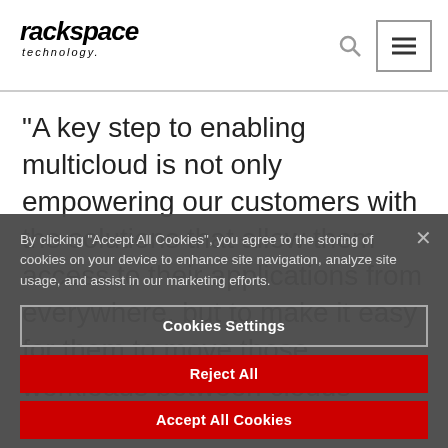rackspace technology. [nav: search icon, menu icon]
acumen that can help guide customers through their transformation journey built on a multi-cloud foundation.
“A key step to enabling multicloud is not only empowering our customers with the solutions that allow them access to their applications from everywhere, but to make it easy for them to move those workloads between clouds based on their
By clicking “Accept All Cookies”, you agree to the storing of cookies on your device to enhance site navigation, analyze site usage, and assist in our marketing efforts.
Cookies Settings
Reject All
Accept All Cookies